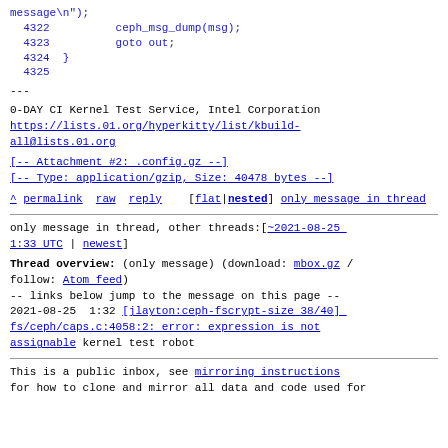message\n");
    4322          ceph_msg_dump(msg);
    4323          goto out;
    4324  }
    4325
---
0-DAY CI Kernel Test Service, Intel Corporation
https://lists.01.org/hyperkitty/list/kbuild-all@lists.01.org
[-- Attachment #2: .config.gz --]
[-- Type: application/gzip, Size: 40478 bytes --]
^ permalink  raw  reply    [flat|nested]  only message in thread
only message in thread, other threads:[~2021-08-25 1:33 UTC | newest]
Thread overview: (only message) (download: mbox.gz / follow: Atom feed)
-- links below jump to the message on this page --
2021-08-25  1:32 [jlayton:ceph-fscrypt-size 38/40] fs/ceph/caps.c:4058:2: error: expression is not assignable  kernel test robot
This is a public inbox, see mirroring instructions for how to clone and mirror all data and code used for